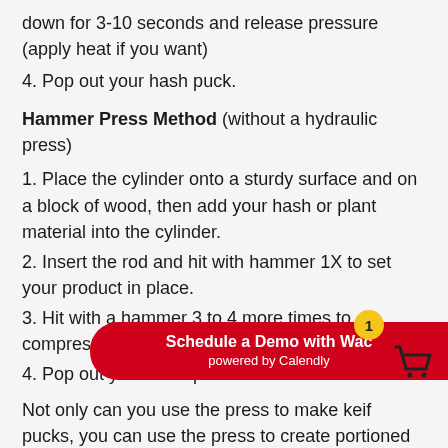down for 3-10 seconds and release pressure (apply heat if you want)
4. Pop out your hash puck.
Hammer Press Method (without a hydraulic press)
1. Place the cylinder onto a sturdy surface and on a block of wood, then add your hash or plant material into the cylinder.
2. Insert the rod and hit with hammer 1X to set your product in place.
3. Hit with a hammer 3 to 4 more times to compress your product firmly.
4. Pop out your hash puck.
Not only can you use the press to make keif pucks, you can use the press to create portioned pucks of your herbal supplements, tea, soup stock, spices and much mo... With this handheld punch yo... own herbal supplemer... of store bought supplements. Creating your own her